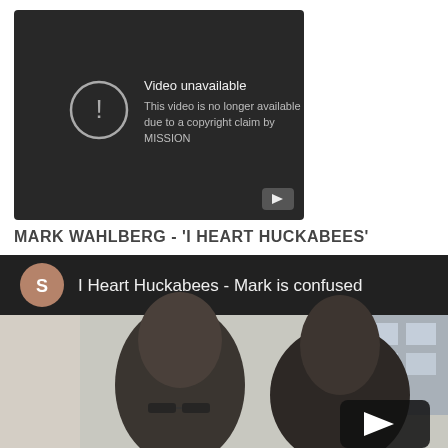[Figure (screenshot): YouTube video unavailable message on dark background. Shows exclamation icon in circle, text 'Video unavailable', 'This video is no longer available due to a copyright claim by MISSION', and YouTube play button icon in bottom right corner.]
MARK WAHLBERG - 'I HEART HUCKABEES'
[Figure (screenshot): YouTube video player showing 'I Heart Huckabees - Mark is confused'. Top bar shows dark background with circular 'S' avatar icon in brown/tan color and video title text. Below shows video thumbnail of two people with dark hair, one wearing glasses, seated outdoors near a building. YouTube play button overlay visible in bottom right.]